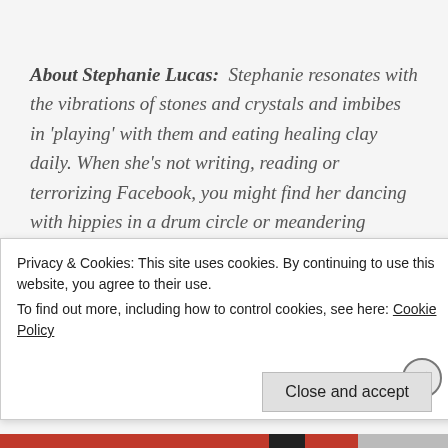About Stephanie Lucas: Stephanie resonates with the vibrations of stones and crystals and imbibes in 'playing' with them and eating healing clay daily. When she's not writing, reading or terrorizing Facebook, you might find her dancing with hippies in a drum circle or meandering through the forest with a wand looking for fairies, nymphs and unicorns to collaborate with.
Privacy & Cookies: This site uses cookies. By continuing to use this website, you agree to their use. To find out more, including how to control cookies, see here: Cookie Policy